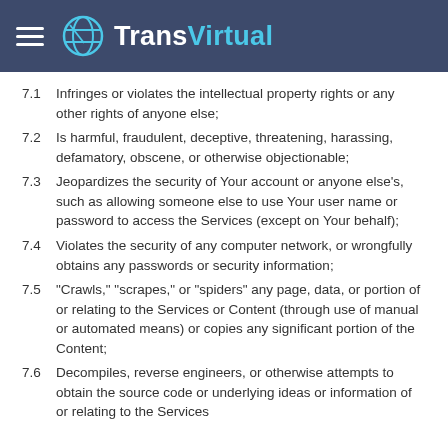TransVirtual
7.1 Infringes or violates the intellectual property rights or any other rights of anyone else;
7.2 Is harmful, fraudulent, deceptive, threatening, harassing, defamatory, obscene, or otherwise objectionable;
7.3 Jeopardizes the security of Your account or anyone else's, such as allowing someone else to use Your user name or password to access the Services (except on Your behalf);
7.4 Violates the security of any computer network, or wrongfully obtains any passwords or security information;
7.5 "Crawls," "scrapes," or "spiders" any page, data, or portion of or relating to the Services or Content (through use of manual or automated means) or copies any significant portion of the Content;
7.6 Decompiles, reverse engineers, or otherwise attempts to obtain the source code or underlying ideas or information of or relating to the Services